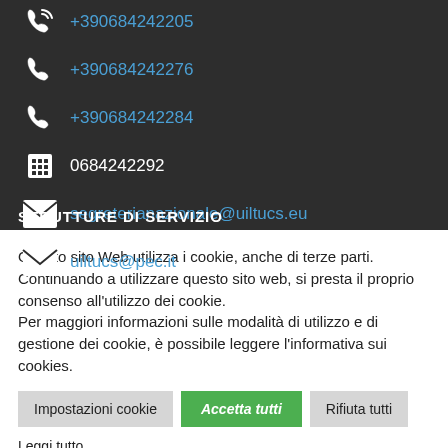+390684242205
+390684242276
+390684242284
0684242292
segreterianazionale@uiltucs.eu
uiltucs@pec.it
STRUTTURE DI SERVIZIO
Questo sito Web utilizza i cookie, anche di terze parti. Continuando a utilizzare questo sito web, si presta il proprio consenso all'utilizzo dei cookie.
Per maggiori informazioni sulle modalità di utilizzo e di gestione dei cookie, è possibile leggere l'informativa sui cookies.
Impostazioni cookie | Accetta tutti | Rifiuta tutti
Leggi tutto